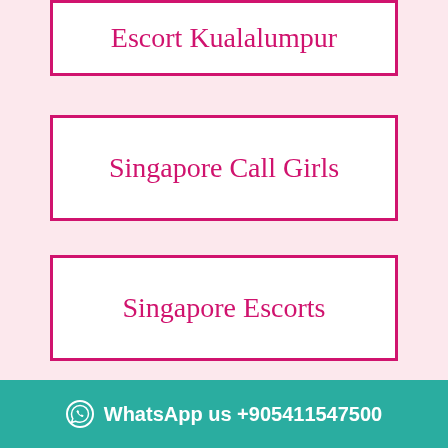Escort Kualalumpur
Singapore Call Girls
Singapore Escorts
Kualalumpur Escort
WhatsApp us +905411547500